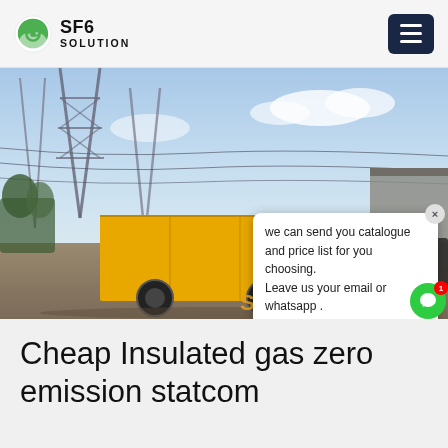SF6 SOLUTION
[Figure (photo): Yellow Isuzu truck parked in front of industrial electrical infrastructure/substation, with overhead power lines and steel towers in background. A chat popup overlay is visible in the bottom-right of the image. Watermark 'SF6China' in orange at bottom-right.]
Cheap Insulated gas zero emission statcom